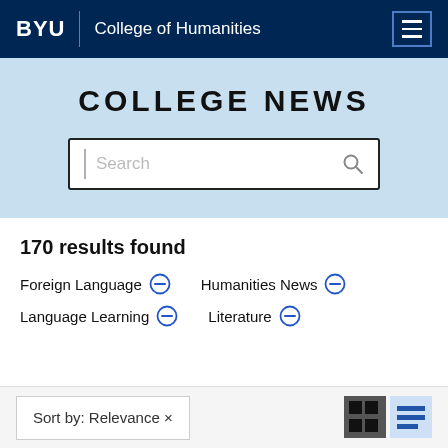BYU | College of Humanities
COLLEGE NEWS
[Figure (screenshot): Search input box with placeholder text 'Search' and a search icon on the right]
170 results found
Foreign Language ⊖
Humanities News ⊖
Language Learning ⊖
Literature ⊖
Sort by: Relevance ×